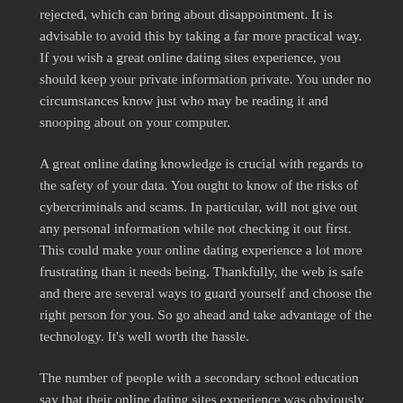rejected, which can bring about disappointment. It is advisable to avoid this by taking a far more practical way. If you wish a great online dating sites experience, you should keep your private information private. You under no circumstances know just who may be reading it and snooping about on your computer.
A great online dating knowledge is crucial with regards to the safety of your data. You ought to know of the risks of cybercriminals and scams. In particular, will not give out any personal information while not checking it out first. This could make your online dating experience a lot more frustrating than it needs being. Thankfully, the web is safe and there are several ways to guard yourself and choose the right person for you. So go ahead and take advantage of the technology. It's well worth the hassle.
The number of people with a secondary school education say that their online dating sites experience was obviously a good one particular. They also declare it was hard to find someone with very similar interests and hobbies.